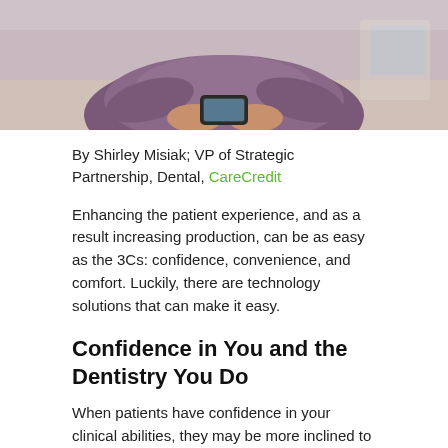[Figure (photo): Person wearing purple/mauve shirt holding a smartphone, seated at a table, viewed from above/mid-body. Another person and a laptop visible in background.]
By Shirley Misiak; VP of Strategic Partnership, Dental, CareCredit
Enhancing the patient experience, and as a result increasing production, can be as easy as the 3Cs: confidence, convenience, and comfort. Luckily, there are technology solutions that can make it easy.
Confidence in You and the Dentistry You Do
When patients have confidence in your clinical abilities, they may be more inclined to move forward with your recommendations. Historically, confidence has been built through in-person, in-practice face-to-face interaction. Today, the opportunity to build